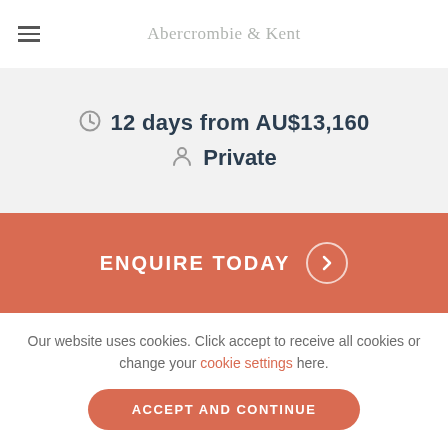Abercrombie & Kent
12 days from AU$13,160
Private
ENQUIRE TODAY
Our website uses cookies. Click accept to receive all cookies or change your cookie settings here.
ACCEPT AND CONTINUE